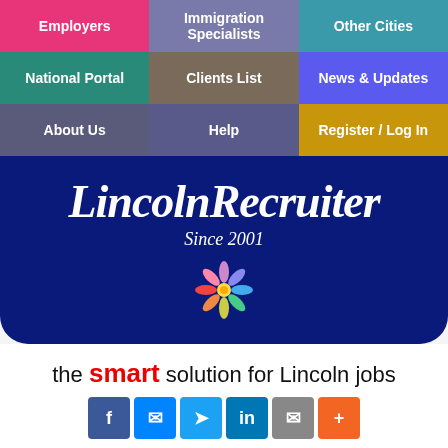[Figure (screenshot): Navigation menu grid with 9 colored cells: Employers (pink), Immigration Specialists (purple-gray), Other Cities (teal), National Portal (dark teal), Clients List (dark brown), News & Updates (blue-purple), About Us (slate), Help (slate-blue), Register / Log In (gold)]
[Figure (logo): LincolnRecruiter branding panel with stylized italic script logo text, 'Since 2001' subtitle, and colorful flower/people logo on dark navy background]
the smart solution for Lincoln jobs
[Figure (infographic): Social share buttons: Facebook, Messenger, Twitter, LinkedIn, Email, Plus]